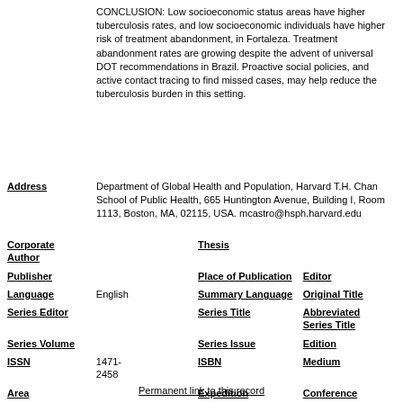CONCLUSION: Low socioeconomic status areas have higher tuberculosis rates, and low socioeconomic individuals have higher risk of treatment abandonment, in Fortaleza. Treatment abandonment rates are growing despite the advent of universal DOT recommendations in Brazil. Proactive social policies, and active contact tracing to find missed cases, may help reduce the tuberculosis burden in this setting.
Address: Department of Global Health and Population, Harvard T.H. Chan School of Public Health, 665 Huntington Avenue, Building I, Room 1113, Boston, MA, 02115, USA. mcastro@hsph.harvard.edu
| Corporate Author |  | Thesis |  |
| Publisher |  | Place of Publication | Editor |  |
| Language | English | Summary Language | Original Title |  |
| Series Editor |  | Series Title | Abbreviated Series Title |  |
| Series Volume |  | Series Issue | Edition |  |
| ISSN | 1471-2458 | ISBN | Medium |  |
| Area |  | Expedition | Conference |  |
| Notes | PMID:28545423 | Approved | no |
| Call Number | ref @ user @ | Serial | 97635 |
Permanent link to this record